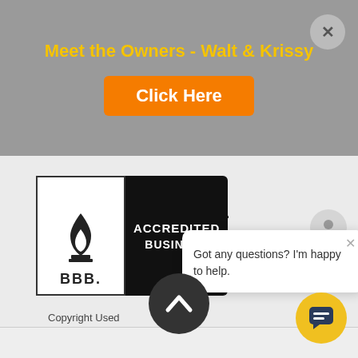Meet the Owners - Walt & Krissy
Click Here
Telehandlers
View Details...
[Figure (logo): BBB Accredited Business logo with flame icon on left white panel and 'ACCREDITED BUSINESS' text on right black panel]
Copyright Used
Got any questions? I'm happy to help.
[Figure (illustration): Dark circle with upward chevron arrow for scrolling up]
[Figure (illustration): Yellow circle with chat bubble icon]